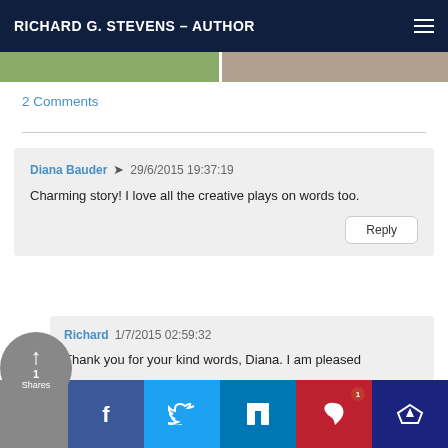RICHARD G. STEVENS – AUTHOR
[Figure (photo): Two cropped photos side by side — left shows an outdoor/nature scene, right shows a partial image with a dark shape]
2 Comments
Diana Bauder → 29/6/2015 19:37:19
Charming story! I love all the creative plays on words too.
[Reply]
Richard 1/7/2015 02:59:32
Thank you for your kind words, Diana. I am pleased
[Figure (infographic): Social share bar with share count (1 Shares), Facebook, Twitter, LinkedIn, Pinterest (badge: 1), and crown/royalty button]